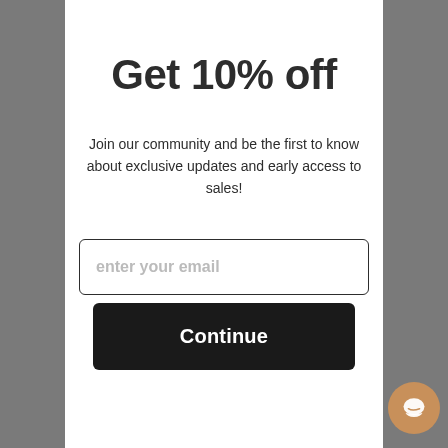Get 10% off
Join our community and be the first to know about exclusive updates and early access to sales!
[Figure (other): Email input field with placeholder text 'enter your email' and a black 'Continue' button below it]
[Figure (other): Chat bubble icon button in bottom right corner, tan/brown circular button with Amazon smile icon]